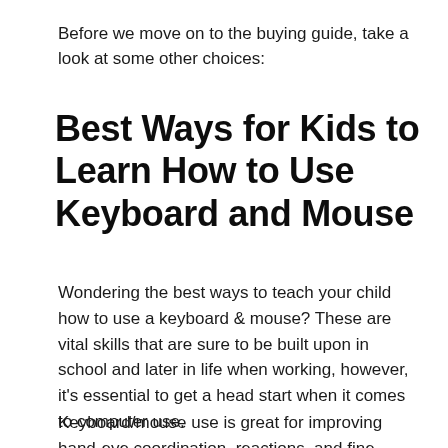Before we move on to the buying guide, take a look at some other choices:
Best Ways for Kids to Learn How to Use Keyboard and Mouse
Wondering the best ways to teach your child how to use a keyboard & mouse? These are vital skills that are sure to be built upon in school and later in life when working, however, it's essential to get a head start when it comes to computer use.
Keyboard/mouse use is great for improving hand-eye coordination, reactions, and fine